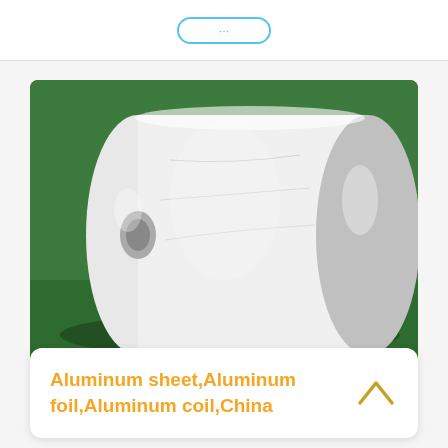[Figure (photo): A large white aluminum coil/roll resting on a green surface. The coil is white-coated with a metallic silver/aluminum visible on the end face. The background is dark green.]
Aluminum sheet,Aluminum foil,Aluminum coil,China